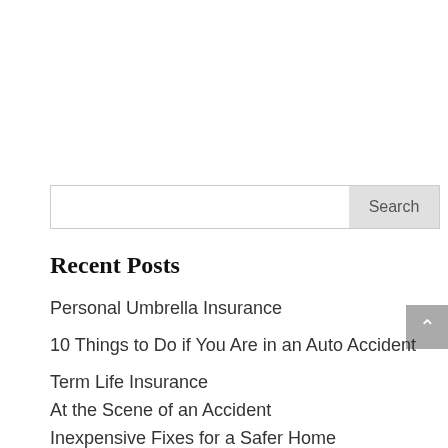[Figure (other): Search bar with text input field and Search button]
Recent Posts
Personal Umbrella Insurance
10 Things to Do if You Are in an Auto Accident
Term Life Insurance
At the Scene of an Accident
Inexpensive Fixes for a Safer Home